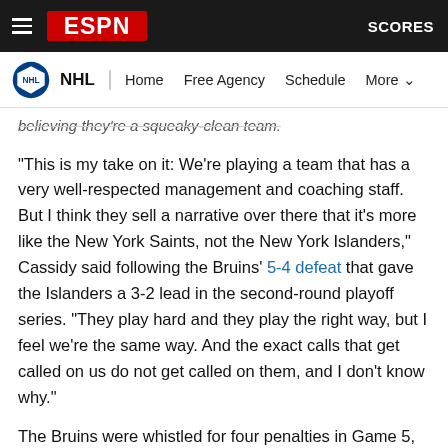ESPN - NHL | Home | Free Agency | Schedule | More | SCORES
believing they're a squeaky-clean team.
"This is my take on it: We're playing a team that has a very well-respected management and coaching staff. But I think they sell a narrative over there that it's more like the New York Saints, not the New York Islanders," Cassidy said following the Bruins' 5-4 defeat that gave the Islanders a 3-2 lead in the second-round playoff series. "They play hard and they play the right way, but I feel we're the same way. And the exact calls that get called on us do not get called on them, and I don't know why."
The Bruins were whistled for four penalties in Game 5, including Patrice Bergeron's delay of game for flipping the puck over the glass in the third period. The Islanders were